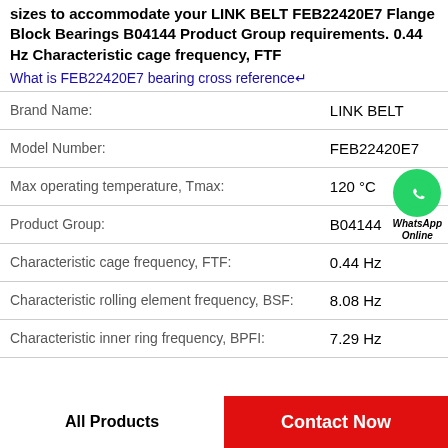sizes to accommodate your LINK BELT FEB22420E7 Flange Block Bearings B04144 Product Group requirements. 0.44 Hz Characteristic cage frequency, FTF
What is FEB22420E7 bearing cross reference↵
| Property | Value |
| --- | --- |
| Brand Name: | LINK BELT |
| Model Number: | FEB22420E7 |
| Max operating temperature, Tmax: | 120 °C |
| Product Group: | B04144 |
| Characteristic cage frequency, FTF: | 0.44 Hz |
| Characteristic rolling element frequency, BSF: | 8.08 Hz |
| Characteristic inner ring frequency, BPFI: | 7.29 Hz |
All Products
Contact Now